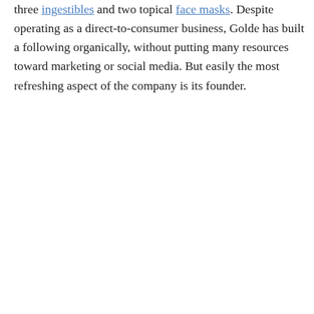three ingestibles and two topical face masks. Despite operating as a direct-to-consumer business, Golde has built a following organically, without putting many resources toward marketing or social media. But easily the most refreshing aspect of the company is its founder.